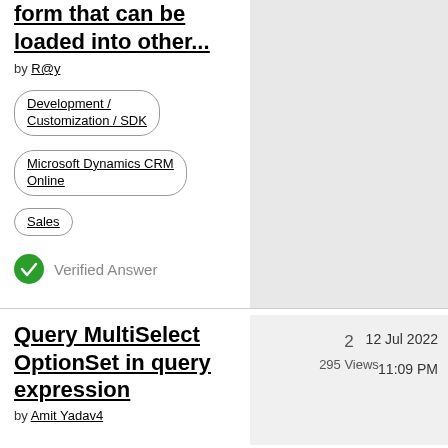form that can be loaded into other...
by R@y
Development / Customization / SDK
Microsoft Dynamics CRM Online
Sales
Verified Answer
Query MultiSelect OptionSet in query expression
by Amit Yadav4
2
295 Views
12 Jul 2022
11:09 PM